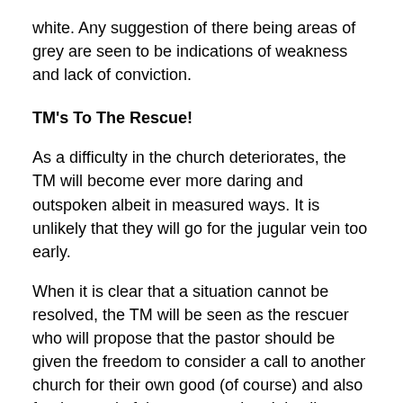white. Any suggestion of there being areas of grey are seen to be indications of weakness and lack of conviction.
TM's To The Rescue!
As a difficulty in the church deteriorates, the TM will become ever more daring and outspoken albeit in measured ways. It is unlikely that they will go for the jugular vein too early.
When it is clear that a situation cannot be resolved, the TM will be seen as the rescuer who will propose that the pastor should be given the freedom to consider a call to another church for their own good (of course) and also for the good of the congregation. It is all so simple and so very plausible